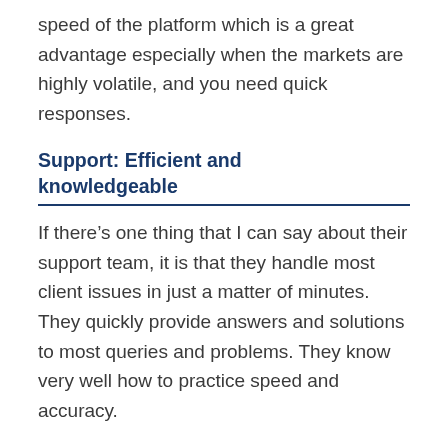speed of the platform which is a great advantage especially when the markets are highly volatile, and you need quick responses.
Support: Efficient and knowledgeable
If there’s one thing that I can say about their support team, it is that they handle most client issues in just a matter of minutes. They quickly provide answers and solutions to most queries and problems. They know very well how to practice speed and accuracy.
Reputation: Fully licensed and